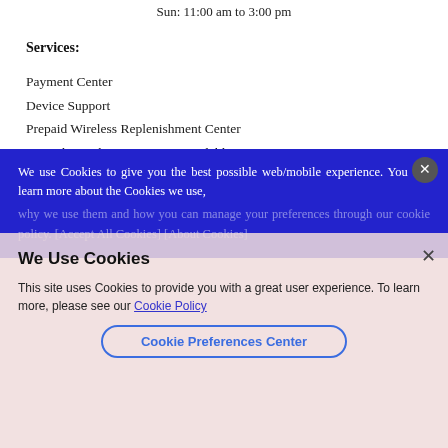Sun: 11:00 am to 3:00 pm
Services:
Payment Center
Device Support
Prepaid Wireless Replenishment Center
Spanish Speaking Associate Available
Trade-in Program
In Store Appointment
Accessories Installment Pricing
We use Cookies to give you the best possible web/mobile experience. You can learn more about the Cookies we use, why we use them and how you can manage your preferences through our cookie policy. [Accept All Cookies] [About Cookies]
We Use Cookies
This site uses Cookies to provide you with a great user experience. To learn more, please see our Cookie Policy
Cookie Preferences Center